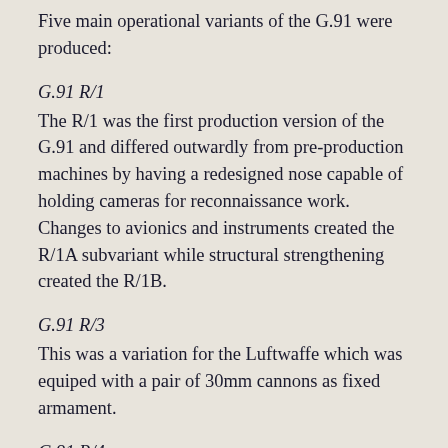Five main operational variants of the G.91 were produced:
G.91 R/1
The R/1 was the first production version of the G.91 and differed outwardly from pre-production machines by having a redesigned nose capable of holding cameras for reconnaissance work. Changes to avionics and instruments created the R/1A subvariant while structural strengthening created the R/1B.
G.91 R/3
This was a variation for the Luftwaffe which was equiped with a pair of 30mm cannons as fixed armament.
G.91 R/4
Initially intended for Greece and Turkey, the